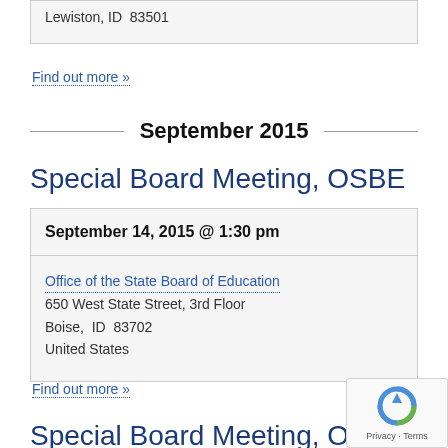Lewiston, ID  83501
Find out more »
September 2015
Special Board Meeting, OSBE
September 14, 2015 @ 1:30 pm
Office of the State Board of Education
650 West State Street, 3rd Floor
Boise, ID  83702
United States
Find out more »
Special Board Meeting, OSBE